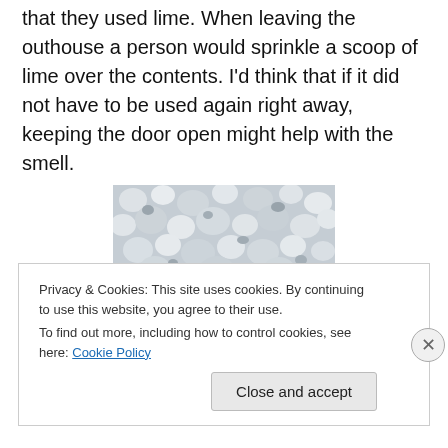that they used lime. When leaving the outhouse a person would sprinkle a scoop of lime over the contents. I'd think that if it did not have to be used again right away, keeping the door open might help with the smell.
[Figure (photo): Close-up photograph of white/grey lime granules or pellets]
Privacy & Cookies: This site uses cookies. By continuing to use this website, you agree to their use.
To find out more, including how to control cookies, see here: Cookie Policy